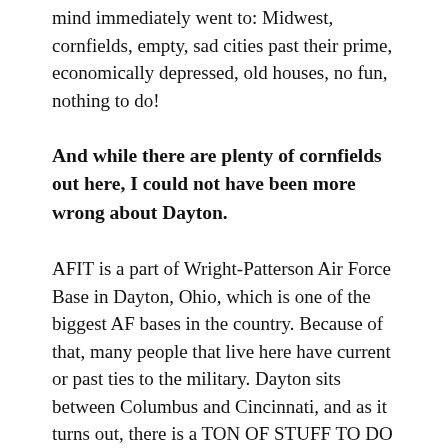mind immediately went to: Midwest, cornfields, empty, sad cities past their prime, economically depressed, old houses, no fun, nothing to do!
And while there are plenty of cornfields out here, I could not have been more wrong about Dayton.
AFIT is a part of Wright-Patterson Air Force Base in Dayton, Ohio, which is one of the biggest AF bases in the country. Because of that, many people that live here have current or past ties to the military. Dayton sits between Columbus and Cincinnati, and as it turns out, there is a TON OF STUFF TO DO HERE.